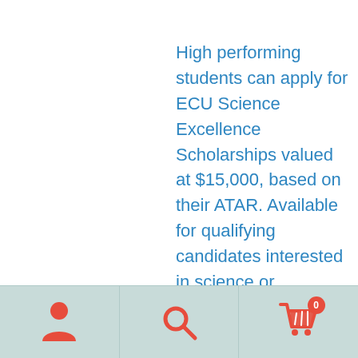High performing students can apply for ECU Science Excellence Scholarships valued at $15,000, based on their ATAR. Available for qualifying candidates interested in science or computing & security courses,
[Figure (infographic): Mobile app navigation bar with three icons: person/user icon (left), search/magnifying glass icon (center), shopping cart icon with badge showing '0' (right), on a light teal background]